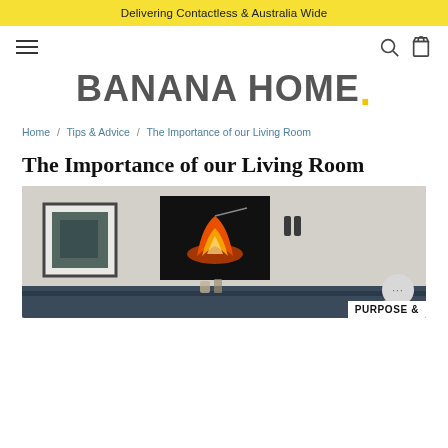Delivering Contactless & Australia Wide
BANANA HOME.
Home / Tips & Advice / The Importance of our Living Room
The Importance of our Living Room
[Figure (photo): Interior living room photo showing a white brick wall with framed artwork and a glowing flame canvas painting. A sofa is visible in the foreground. A chat bubble overlay and 'PURPOSE &' label appear at bottom right.]